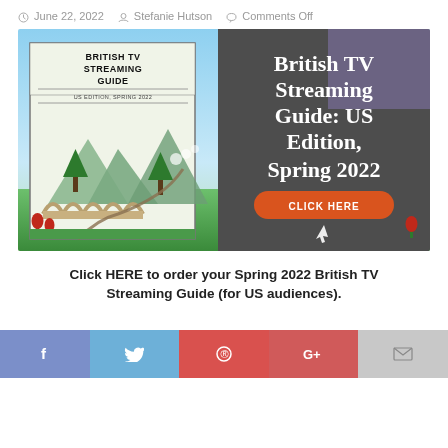June 22, 2022   Stefanie Hutson   Comments Off
[Figure (illustration): Promotional banner for British TV Streaming Guide: US Edition, Spring 2022. Left side shows book cover with illustrated scenic train viaduct. Right side shows dark grey panel with book title in white serif font and orange 'CLICK HERE' button.]
Click HERE to order your Spring 2022 British TV Streaming Guide (for US audiences).